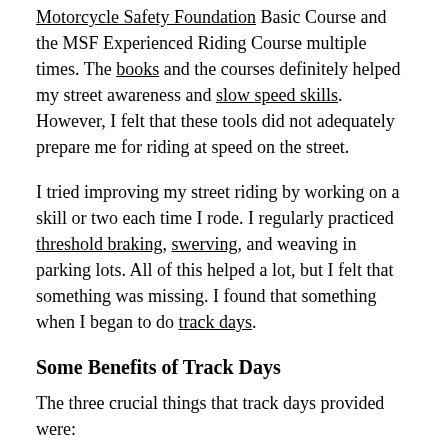Motorcycle Safety Foundation Basic Course and the MSF Experienced Riding Course multiple times. The books and the courses definitely helped my street awareness and slow speed skills. However, I felt that these tools did not adequately prepare me for riding at speed on the street.
I tried improving my street riding by working on a skill or two each time I rode. I regularly practiced threshold braking, swerving, and weaving in parking lots. All of this helped a lot, but I felt that something was missing. I found that something when I began to do track days.
Some Benefits of Track Days
The three crucial things that track days provided were:
Observation and feedback from track professionals.